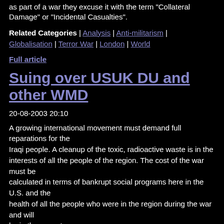as part of a war they excuse it with the term "Collateral Damage" or "Incidental Casualties".
Related Categories | Analysis | Anti-militarism | Globalisation | Terror War | London | World
Full article
Suing over USUK DU and other WMD
20-08-2003 20:10
A growing international movement must demand full reparations for the Iraqi people. A cleanup of the toxic, radioactive waste is in the interests of all the people of the region. The cost of the war must be calculated in terms of bankrupt social programs here in the U.S. and the health of all the people who were in the region during the war and will be in the years to come.